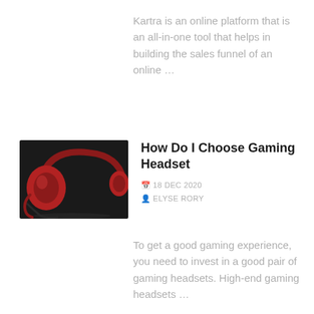Kartra is an online platform that is an all-in-one tool that helps in building the sales funnel of an online …
[Figure (photo): Red gaming headset on a dark background]
How Do I Choose Gaming Headset
18 DEC 2020
ELYSE RORY
To get a good gaming experience, you need to invest in a good pair of gaming headsets. High-end gaming headsets …